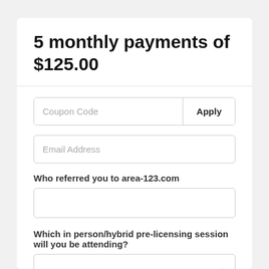5 monthly payments of $125.00
Coupon Code
Apply
Email Address
Who referred you to area-123.com
Which in person/hybrid pre-licensing session will you be attending?